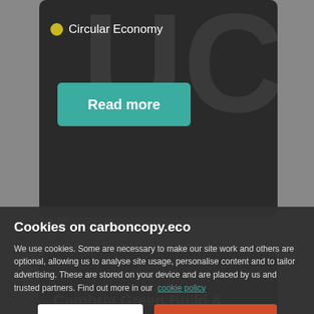[Figure (screenshot): Website screenshot showing a card with 'Circular Economy' label and a teal 'Read more' button on a dark background]
Circular Economy
Read more
[Figure (screenshot): Partial website card showing 'Cumbria Green Build &' text on dark background]
Cumbria Green Build &
Cookies on carboncopy.eco
We use cookies. Some are necessary to make our site work and others are optional, allowing us to analyse site usage, personalise content and to tailor advertising. These are stored on your device and are placed by us and trusted partners. Find out more in our cookie policy
Manage Cookies
Accept All Cookies